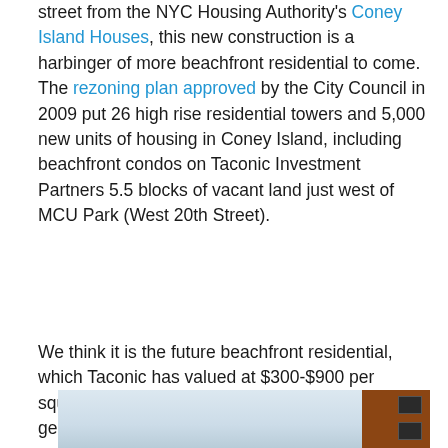street from the NYC Housing Authority's Coney Island Houses, this new construction is a harbinger of more beachfront residential to come. The rezoning plan approved by the City Council in 2009 put 26 high rise residential towers and 5,000 new units of housing in Coney Island, including beachfront condos on Taconic Investment Partners 5.5 blocks of vacant land just west of MCU Park (West 20th Street).
We think it is the future beachfront residential, which Taconic has valued at $300-$900 per square foot, that is driving the City's plan to gentrify the Boardwalk and make it into a year-round destination with upscale restaurants and bars.
[Figure (photo): Partial view of a building exterior showing a brick facade on the right side against a light blue sky background.]